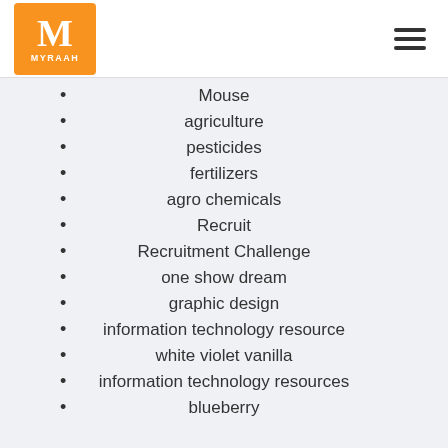MYRAAH
Mouse
agriculture
pesticides
fertilizers
agro chemicals
Recruit
Recruitment Challenge
one show dream
graphic design
information technology resource
white violet vanilla
information technology resources
blueberry